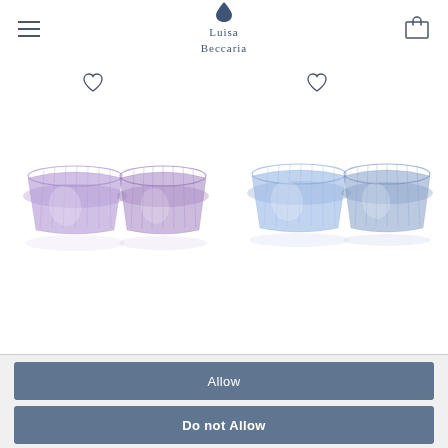Luisa Beccaria
[Figure (photo): Two purple/violet ribbed glass bowls side by side on left panel, with a heart/wishlist icon above]
[Figure (photo): Two blue ribbed glass bowls side by side on right panel, with a heart/wishlist icon above]
Allow
Do not Allow